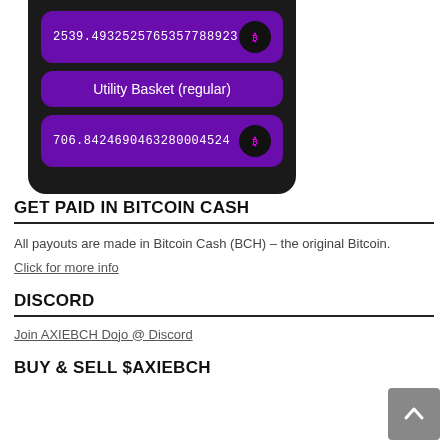[Figure (screenshot): Mobile app UI screenshot showing two purple cards: first with number 2539.4932525765357788923 and a crypto icon, second with label 'Utility Basket (regular)' centered, and third with number 706.8424690463280004524 and a crypto icon, all on dark background.]
GET PAID IN BITCOIN CASH
All payouts are made in Bitcoin Cash (BCH) – the original Bitcoin.
Click for more info
DISCORD
Join AXIEBCH Dojo @ Discord
BUY & SELL $AXIEBCH